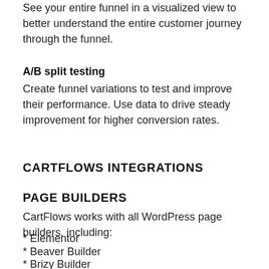See your entire funnel in a visualized view to better understand the entire customer journey through the funnel.
A/B split testing
Create funnel variations to test and improve their performance. Use data to drive steady improvement for higher conversion rates.
CARTFLOWS INTEGRATIONS
PAGE BUILDERS
CartFlows works with all WordPress page builders, including:
* Elementor
* Beaver Builder
* Brizy Builder
* Divi Builder